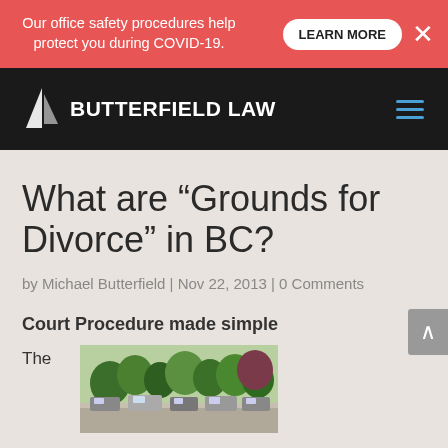Our office safety procedures help protect you during COVID-19.
LEARN MORE
BUTTERFIELD LAW
What are “Grounds for Divorce” in BC?
by Michael Butterfield | Nov 22, 2013 | 0 Comments
Court Procedure made simple
The
[Figure (photo): Street scene photograph showing parked cars and trees along a suburban road]